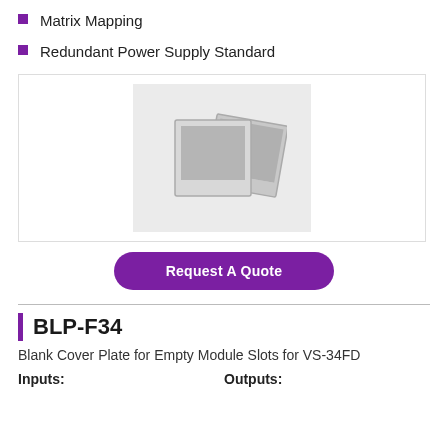Matrix Mapping
Redundant Power Supply Standard
[Figure (photo): Placeholder image icon showing stacked photo frames on a light gray background]
Request A Quote
BLP-F34
Blank Cover Plate for Empty Module Slots for VS-34FD
Inputs:
Outputs: